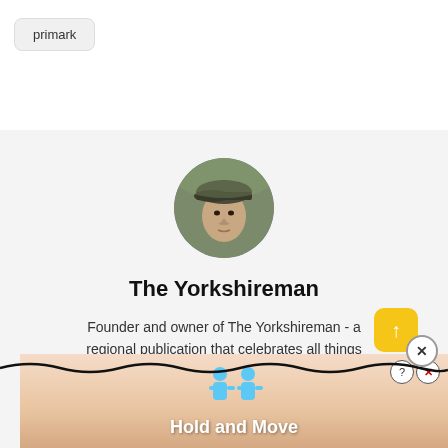primark
[Figure (photo): Circular profile avatar showing a man wearing a flat cap, looking upward, outdoors with a blurred green background]
The Yorkshireman
Founder and owner of The Yorkshireman - a regional publication that celebrates all things Yorkshire. Fi... me dawdling in the Dales or walking the dog...
[Figure (screenshot): Ad banner at bottom showing a mobile game called 'Hold and Move' with cartoon character figures on a striped background, with help and close icons in top right]